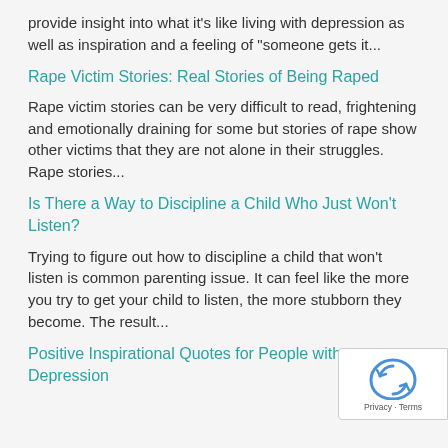provide insight into what it's like living with depression as well as inspiration and a feeling of "someone gets it...
Rape Victim Stories: Real Stories of Being Raped
Rape victim stories can be very difficult to read, frightening and emotionally draining for some but stories of rape show other victims that they are not alone in their struggles. Rape stories...
Is There a Way to Discipline a Child Who Just Won't Listen?
Trying to figure out how to discipline a child that won't listen is common parenting issue. It can feel like the more you try to get your child to listen, the more stubborn they become. The result...
Positive Inspirational Quotes for People with Depression